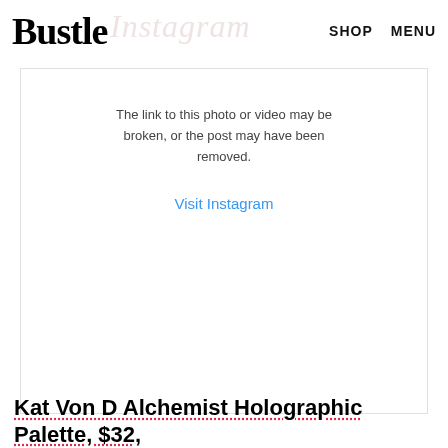Bustle
[Figure (screenshot): Broken Instagram embed placeholder box with text 'The link to this photo or video may be broken, or the post may have been removed.' and a 'Visit Instagram' link]
Kat Von D Alchemist Holographic Palette, $32,